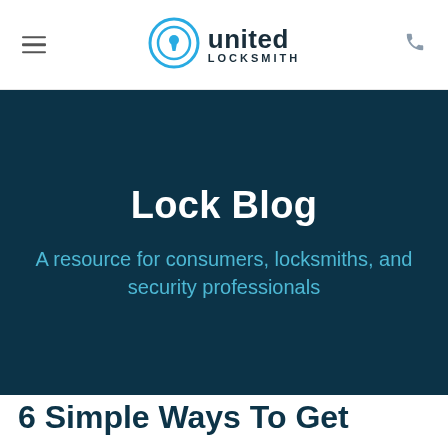united LOCKSMITH
Lock Blog
A resource for consumers, locksmiths, and security professionals
6 Simple Ways To Get